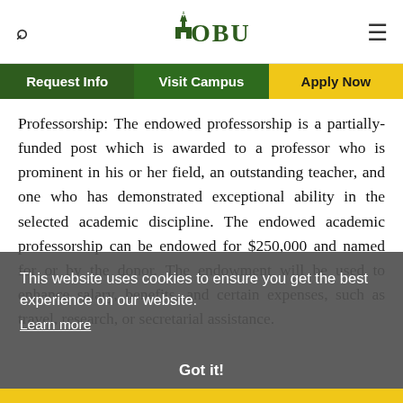OBU - Oklahoma Baptist University website header with search, logo, and menu
Request Info | Visit Campus | Apply Now
Professorship: The endowed professorship is a partially-funded post which is awarded to a professor who is prominent in his or her field, an outstanding teacher, and one who has demonstrated exceptional ability in the selected academic discipline. The endowed academic professorship can be endowed for $250,000 and named for or by the donor. The endowment will be used to enhance salary, benefits, and certain expenses, such as travel, research, or secretarial assistance.
This website uses cookies to ensure you get the best experience on our website.
Learn more
Got it!
Chair: The endowed chair is similar to the endowed professorship in terms of the assistance provided, except